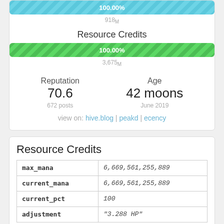[Figure (infographic): Blue striped progress bar showing 100.00%]
918M
Resource Credits
[Figure (infographic): Green striped progress bar showing 100.00%]
3,675M
Reputation
70.6
672 posts
Age
42 moons
June 2019
view on: hive.blog | peakd | ecency
Resource Credits
| max_mana | 6,669,561,255,889 |
| current_mana | 6,669,561,255,889 |
| current_pct | 100 |
| adjustment | "3.288 HP" |
Enough credits for approximately:
100+ comments
100+ votes
100+ transfers